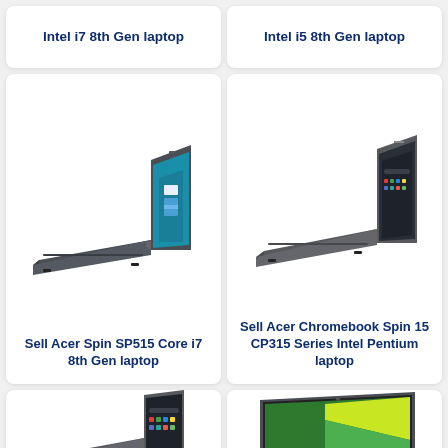Intel i7 8th Gen laptop
Intel i5 8th Gen laptop
[Figure (photo): Acer Spin SP515 laptop in tent mode showing teal/ocean wallpaper on screen]
Sell Acer Spin SP515 Core i7 8th Gen laptop
[Figure (photo): Acer Chromebook Spin 15 CP315 in tent mode, dark metallic body]
Sell Acer Chromebook Spin 15 CP315 Series Intel Pentium laptop
[Figure (photo): Acer Chromebook in tent mode, partial view at bottom of page]
[Figure (photo): Acer laptop open showing green/yellow wallpaper, partial view at bottom of page]